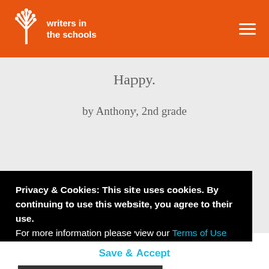writers in the schools
Happy.
by Anthony,  2nd grade
Privacy & Cookies: This site uses cookies. By continuing to use this website, you agree to their use.
For more information please view our Terms of Use and Privacy Statement.
Save & Accept